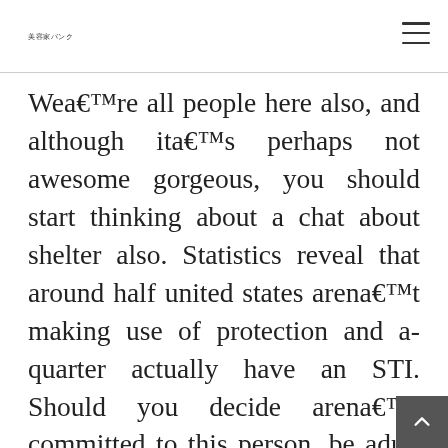美容家バンク
Wea€™re all people here also, and although ita€™s perhaps not awesome gorgeous, you should start thinking about a chat about shelter also. Statistics reveal that around half united states arena€™t making use of protection and a-quarter actually have an STI. Should you decide arena€™t committed to this person, be adult and responsible and mention how youa€™re planning to stay protected from ailments and unanticipated pregnancies. The choices you will be making were